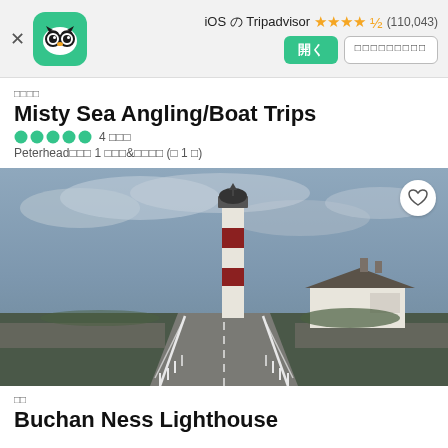[Figure (screenshot): Tripadvisor app banner with green owl logo icon, iOS Tripadvisor label with 4.5 star rating and (110,043) reviews, open button and app store button]
□□□□
Misty Sea Angling/Boat Trips
●●●●● 4 □□□
Peterhead□□□ 1 □□□&□□□□ (□ 1 □)
[Figure (photo): Photograph of Buchan Ness Lighthouse - a red and white striped lighthouse with a white building beside it, viewed from a road with white fences on a cloudy day]
□□
Buchan Ness Lighthouse